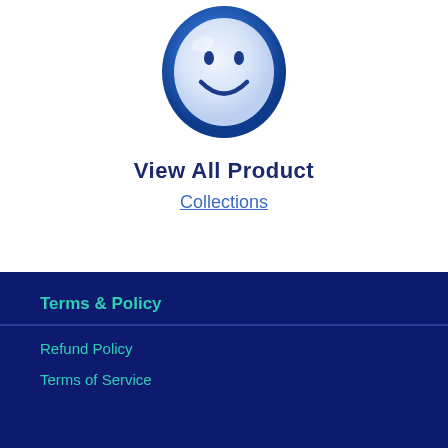[Figure (illustration): Blue circular smiley face logo/icon with white face, blue eyes and smile, and a glossy blue circular border]
View All Product
Collections
Terms & Policy
Refund Policy
Terms of Service